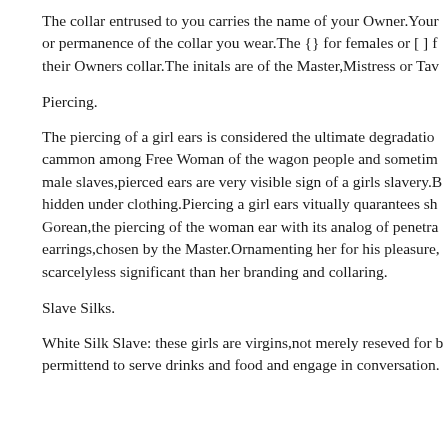The collar entrused to you carries the name of your Owner.Your or permanence of the collar you wear.The {} for females or [ ] f their Owners collar.The initals are of the Master,Mistress or Tav
Piercing.
The piercing of a girl ears is considered the ultimate degradatio cammon among Free Woman of the wagon people and sometim male slaves,pierced ears are very visible sign of a girls slavery.B hidden under clothing.Piercing a girl ears vitually quarantees sh Gorean,the piercing of the woman ear with its analog of penetra earrings,chosen by the Master.Ornamenting her for his pleasure, scarcelyless significant than her branding and collaring.
Slave Silks.
White Silk Slave: these girls are virgins,not merely reseved for b permittend to serve drinks and food and engage in conversation.